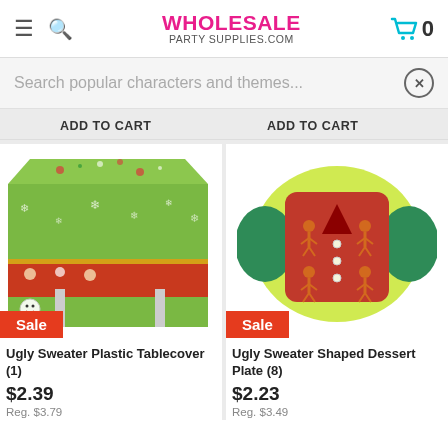WHOLESALE PARTY SUPPLIES.COM
Search popular characters and themes...
ADD TO CART
ADD TO CART
[Figure (photo): Ugly Sweater Plastic Tablecover displayed on a table, green with Christmas pattern, snowmen and gingerbread decorations, red border]
Sale
Ugly Sweater Plastic Tablecover (1)
$2.39
Reg. $3.79
[Figure (photo): Ugly Sweater Shaped Dessert Plate with gingerbread man pattern, red and green Christmas sweater shape]
Sale
Ugly Sweater Shaped Dessert Plate (8)
$2.23
Reg. $3.49